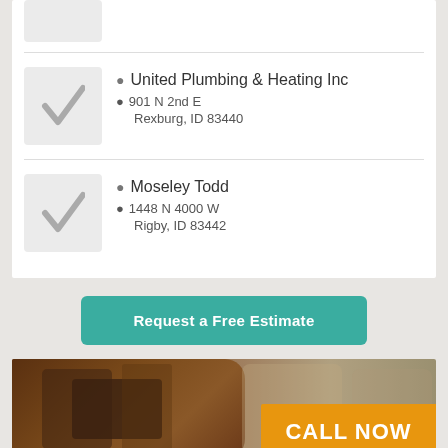United Plumbing & Heating Inc
901 N 2nd E
Rexburg, ID 83440
Moseley Todd
1448 N 4000 W
Rigby, ID 83442
Request a Free Estimate
[Figure (photo): Photo of leather car interior seats with a CALL NOW orange banner overlay in the bottom right corner]